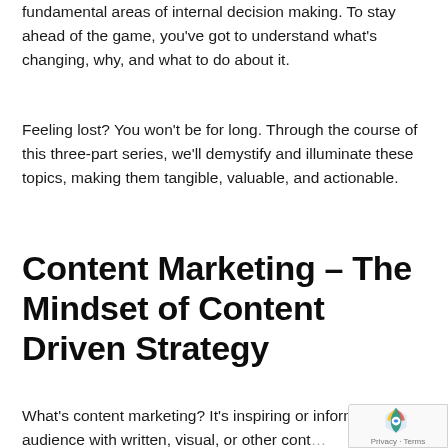fundamental areas of internal decision making. To stay ahead of the game, you've got to understand what's changing, why, and what to do about it.
Feeling lost? You won't be for long. Through the course of this three-part series, we'll demystify and illuminate these topics, making them tangible, valuable, and actionable.
Content Marketing – The Mindset of Content Driven Strategy
What's content marketing? It's inspiring or informing your audience with written, visual, or other conte...